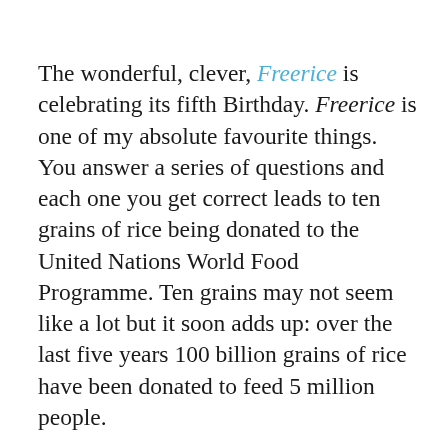The wonderful, clever, Freerice is celebrating its fifth Birthday. Freerice is one of my absolute favourite things. You answer a series of questions and each one you get correct leads to ten grains of rice being donated to the United Nations World Food Programme. Ten grains may not seem like a lot but it soon adds up: over the last five years 100 billion grains of rice have been donated to feed 5 million people.
When John Breen created Freerice to give his children a tool for studying for their college entrance exams, he also wanted to make sure his kids understood the importance of giving back. By donating Freerice to the World Food Programme, he's made it possible for countless others to get involved in the fight against hunger. All of my family
Privacy & Cookies: This site uses cookies. By continuing to use this website, you agree to their use. To find out more, including how to control cookies, see here: Cookie Policy
Close and accept